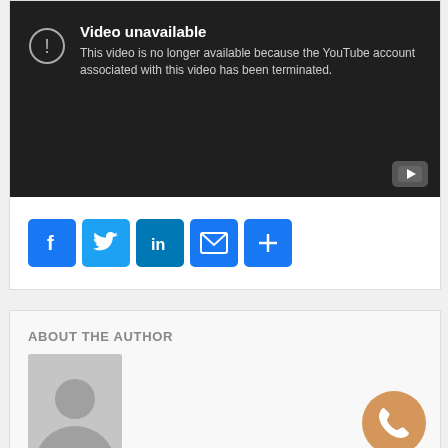[Figure (screenshot): YouTube video unavailable error screen with dark background showing exclamation circle icon and text: 'Video unavailable - This video is no longer available because the YouTube account associated with this video has been terminated.' YouTube logo icon in bottom right corner.]
[Figure (infographic): Row of social share buttons: Facebook (f), Twitter (bird), LinkedIn (in), Email (envelope), Share more (+)]
ABOUT THE AUTHOR
[Figure (photo): Generic author avatar placeholder image - grey square with white silhouette of a person]